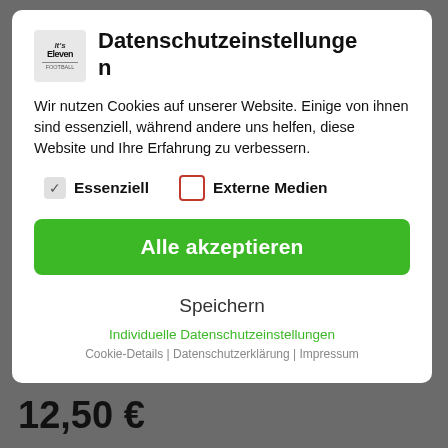[Figure (logo): It's Eleven logo in a small grey box]
Datenschutzeinstellungen
Wir nutzen Cookies auf unserer Website. Einige von ihnen sind essenziell, während andere uns helfen, diese Website und Ihre Erfahrung zu verbessern.
✓ Essenziell
☐ Externe Medien
Alle akzeptieren
Speichern
Individuelle Datenschutzeinstellungen
Cookie-Details | Datenschutzerklärung | Impressum
12,50 €